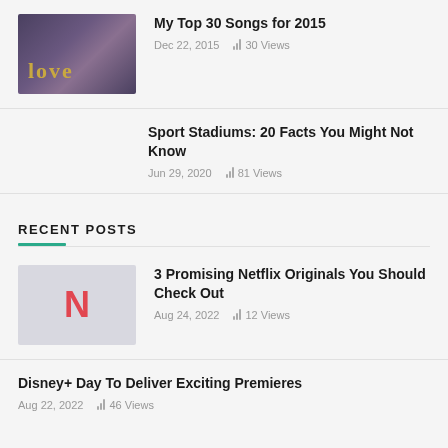My Top 30 Songs for 2015 | Dec 22, 2015 | 30 Views
Sport Stadiums: 20 Facts You Might Not Know | Jun 29, 2020 | 81 Views
RECENT POSTS
3 Promising Netflix Originals You Should Check Out | Aug 24, 2022 | 12 Views
Disney+ Day To Deliver Exciting Premieres | Aug 22, 2022 | 46 Views